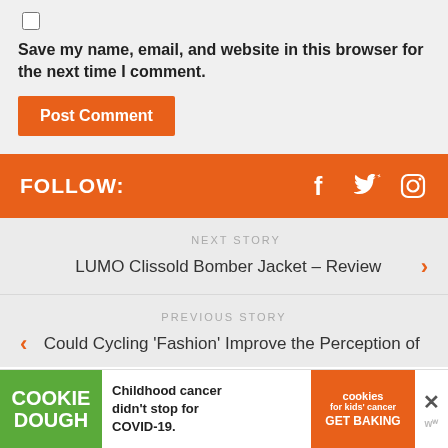Save my name, email, and website in this browser for the next time I comment.
Post Comment
FOLLOW:
NEXT STORY
LUMO Clissold Bomber Jacket – Review
PREVIOUS STORY
Could Cycling 'Fashion' Improve the Perception of Cycling?
[Figure (infographic): Advertisement banner: Cookie Dough - Childhood cancer didn't stop for COVID-19. Cookies for kids' cancer. GET BAKING.]